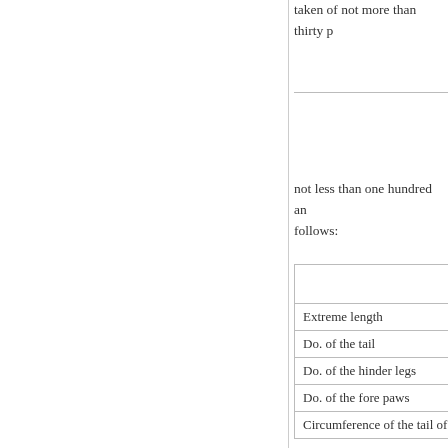taken of not more than thirty p
not less than one hundred and follows:
|  |
| --- |
| Extreme length |
| Do. of the tail |
| Do. of the hinder legs |
| Do. of the fore paws |
| Circumference of the tail of th |
After this perhaps I shall hard is, however, in my power to sp
In running, this animal confine speed is very great, though ne